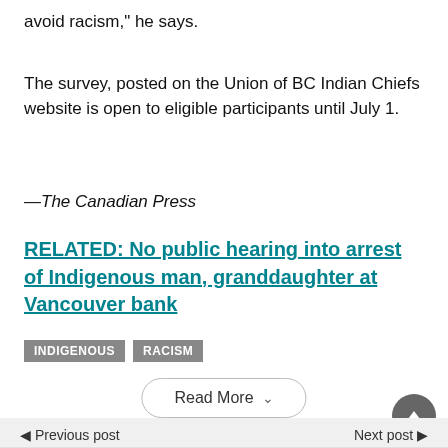avoid racism,” he says.
The survey, posted on the Union of BC Indian Chiefs website is open to eligible participants until July 1.
—The Canadian Press
RELATED: No public hearing into arrest of Indigenous man, granddaughter at Vancouver bank
INDIGENOUS
RACISM
Read More
Previous post / Next post
[Figure (photo): La-Z-Boy advertisement showing a teal tufted sofa with the La-Z-Boy logo]